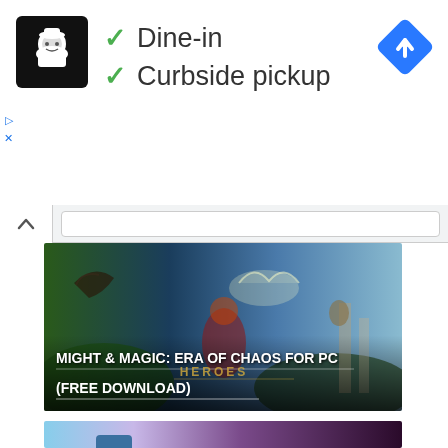[Figure (screenshot): Advertisement banner showing a restaurant logo (chef icon on black background), green checkmarks next to 'Dine-in' and 'Curbside pickup' text, a blue diamond navigation icon on the right, and small ad controls (play and close icons) on the left side.]
Dine-in
Curbside pickup
[Figure (screenshot): Browser address bar area with up chevron button and white URL input bar on gray background.]
[Figure (screenshot): Game promotional image for 'Might & Magic: Era of Chaos for PC (Free Download)' showing fantasy characters including a red-haired female warrior, a dragon, and angelic figures against a fantasy landscape background. Text overlaid at bottom reads 'MIGHT & MAGIC: ERA OF CHAOS FOR PC (FREE DOWNLOAD)' with 'HEROES' watermark.]
[Figure (screenshot): Partial game promotional image for 'Crush Them All' showing animated character in blue hat with red cape on left, colorful 'CRUSH THEM ALL' game logo in center, and dark volcanic/castle landscape on right.]